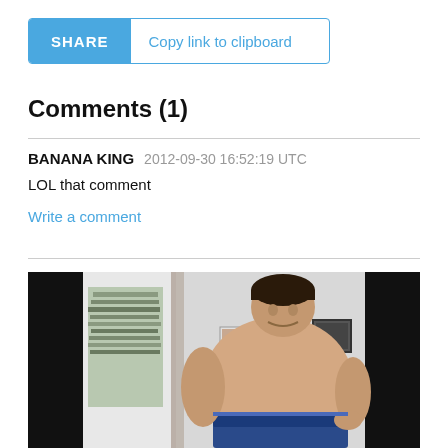[Figure (screenshot): Share button bar with blue SHARE button and 'Copy link to clipboard' text]
Comments (1)
BANANA KING   2012-09-30 16:52:19 UTC
LOL that comment
Write a comment
[Figure (photo): A shirtless overweight man wearing blue shorts standing in a room]